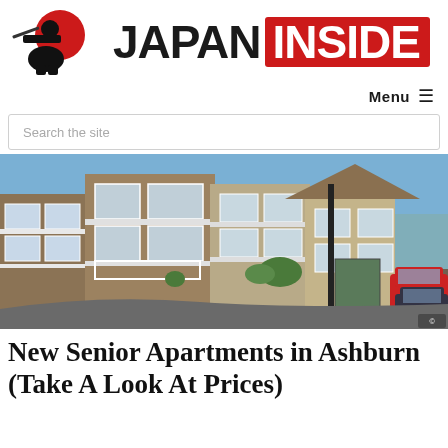[Figure (logo): Japan Inside logo: samurai figure with red circle on left, 'JAPAN' in black bold text and 'INSIDE' in white on red rectangle on right]
Menu ≡
Search the site
[Figure (photo): Exterior photo of apartment complex buildings with brick facade, white balconies, parking lot with cars, sunny day]
New Senior Apartments in Ashburn (Take A Look At Prices)